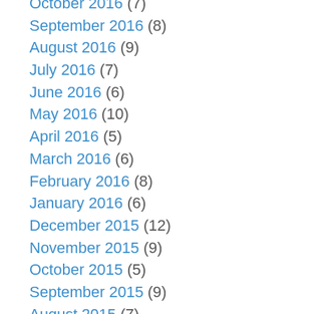October 2016 (7)
September 2016 (8)
August 2016 (9)
July 2016 (7)
June 2016 (6)
May 2016 (10)
April 2016 (5)
March 2016 (6)
February 2016 (8)
January 2016 (6)
December 2015 (12)
November 2015 (9)
October 2015 (5)
September 2015 (9)
August 2015 (7)